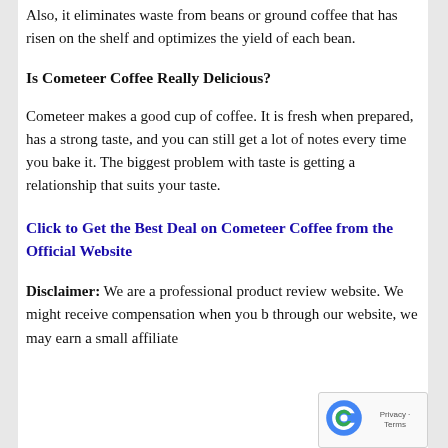Also, it eliminates waste from beans or ground coffee that has risen on the shelf and optimizes the yield of each bean.
Is Cometeer Coffee Really Delicious?
Cometeer makes a good cup of coffee. It is fresh when prepared, has a strong taste, and you can still get a lot of notes every time you bake it. The biggest problem with taste is getting a relationship that suits your taste.
Click to Get the Best Deal on Cometeer Coffee from the Official Website
Disclaimer: We are a professional product review website. We might receive compensation when you b through our website, we may earn a small affiliate